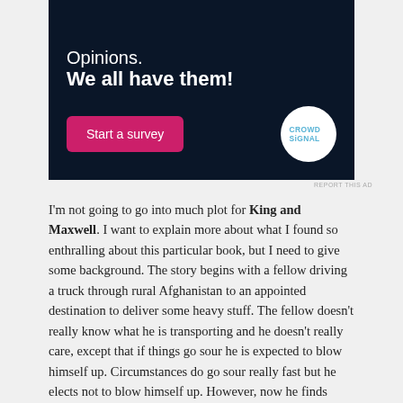[Figure (other): Advertisement banner with dark navy background showing 'Opinions. We all have them!' text, a pink 'Start a survey' button, and the Crowdsignal logo circle on the right.]
REPORT THIS AD
I'm not going to go into much plot for King and Maxwell. I want to explain more about what I found so enthralling about this particular book, but I need to give some background. The story begins with a fellow driving a truck through rural Afghanistan to an appointed destination to deliver some heavy stuff. The fellow doesn't really know what he is transporting and he doesn't really care, except that if things go sour he is expected to blow himself up. Circumstances do go sour really fast but he elects not to blow himself up. However, now he finds himself stuck in northern Afghanistan, his contacts have closed ranks on him, and he is an American